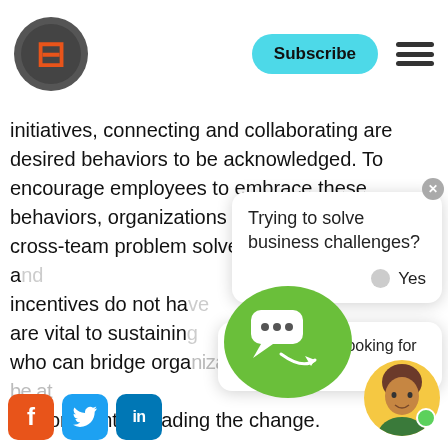Subscribe
initiatives, connecting and collaborating are desired behaviors to be acknowledged. To encourage employees to embrace these behaviors, organizations should reward cross-team problem solvers, connectors, and incentives do not have are vital to sustaining who can bridge organizational silos should be at the forefront of leading the change.
[Figure (screenshot): Chat widget overlay with title 'Trying to solve business challenges?' and options 'Yes' and 'Not yet. I'm looking for career info']
[Figure (illustration): Green circle with chat bubble icon and avatar of a person with yellow background and green online dot]
[Figure (logo): Social media icons: Facebook (orange), Twitter (blue), LinkedIn (blue)]